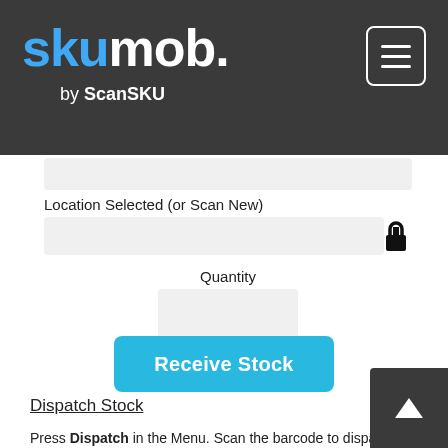[Figure (logo): skumob. by ScanSKU logo on dark gray header background with hamburger menu icon]
Location Selected (or Scan New)
Quantity
Receive Stock
Dispatch Stock
Press Dispatch in the Menu. Scan the barcode to dispatch. If